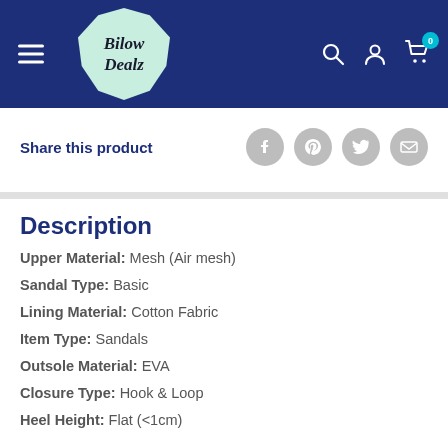Bilow Dealz - navigation header with hamburger menu, logo, search, account, and cart icons
Share this product
Description
Upper Material: Mesh (Air mesh)
Sandal Type: Basic
Lining Material: Cotton Fabric
Item Type: Sandals
Outsole Material: EVA
Closure Type: Hook & Loop
Heel Height: Flat (<1cm)